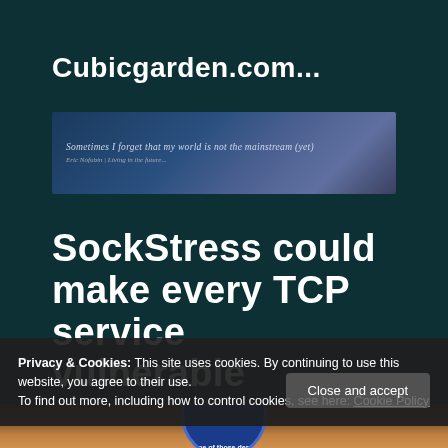Cubicgarden.com...
[Figure (screenshot): Banner image with dark blue/purple gradient sky background containing italic quote text: 'Sometimes I forget that my world is not the mainstream (yet)' and attribution text below it]
SockStress could make every TCP service vulnerable
Privacy & Cookies: This site uses cookies. By continuing to use this website, you agree to their use.
To find out more, including how to control cookies, see here: Cookie Policy
[Figure (photo): Bottom portion showing a warm-toned photograph with what appears to be a lamp and a circular badge/logo with partial text 'one of those deaf-' visible]